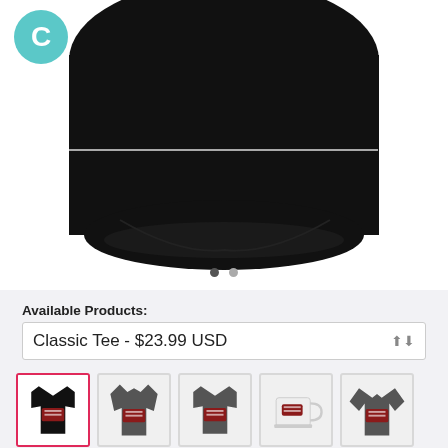[Figure (photo): Close-up of a black t-shirt on a white background, showing the lower body/torso portion of the shirt.]
C
Available Products:
Classic Tee - $23.99 USD
[Figure (photo): Five product thumbnail images: black classic tee (selected, pink border), dark grey hoodie, dark grey regular tee, white mug, and dark grey long sleeve shirt — all featuring the same graphic design.]
Description: